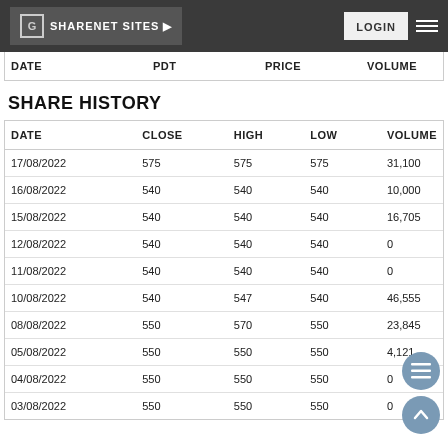SHARENET SITES ▶  LOGIN
| DATE | PDT | PRICE | VOLUME |
| --- | --- | --- | --- |
SHARE HISTORY
| DATE | CLOSE | HIGH | LOW | VOLUME |
| --- | --- | --- | --- | --- |
| 17/08/2022 | 575 | 575 | 575 | 31,100 |
| 16/08/2022 | 540 | 540 | 540 | 10,000 |
| 15/08/2022 | 540 | 540 | 540 | 16,705 |
| 12/08/2022 | 540 | 540 | 540 | 0 |
| 11/08/2022 | 540 | 540 | 540 | 0 |
| 10/08/2022 | 540 | 547 | 540 | 46,555 |
| 08/08/2022 | 550 | 570 | 550 | 23,845 |
| 05/08/2022 | 550 | 550 | 550 | 4,121 |
| 04/08/2022 | 550 | 550 | 550 | 0 |
| 03/08/2022 | 550 | 550 | 550 | 0 |